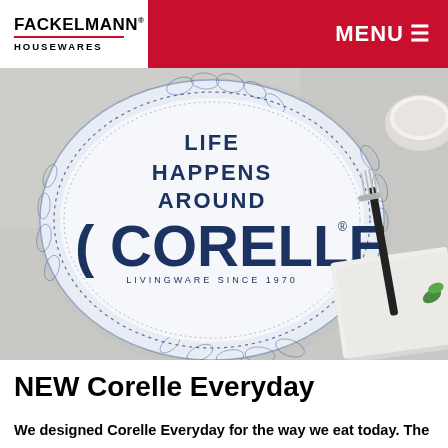FACKELMANN® HOUSEWARES   MENU≡
[Figure (photo): A decorative Corelle dinnerware plate with blue floral leaf pattern border on the rim, displayed on a white surface with a fork and napkin beside it. The plate shows the text 'LIFE HAPPENS AROUND CORELLE LIVINGWARE SINCE 1970' in dark navy blue lettering.]
NEW Corelle Everyday
We designed Corelle Everyday for the way we eat today. The